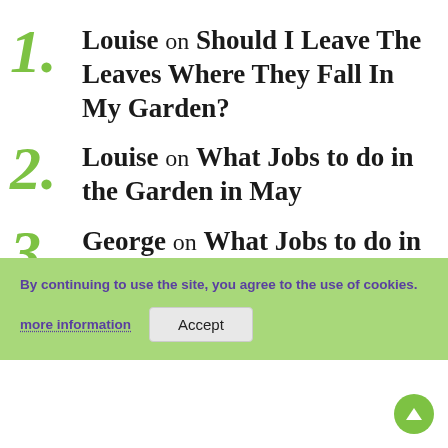Louise on Should I Leave The Leaves Where They Fall In My Garden?
Louise on What Jobs to do in the Garden in May
George on What Jobs to do in the Garden in May
Amanda on Should I Leave The Leaves Where They Fall In My Garden?
By continuing to use the site, you agree to the use of cookies. more information | Accept